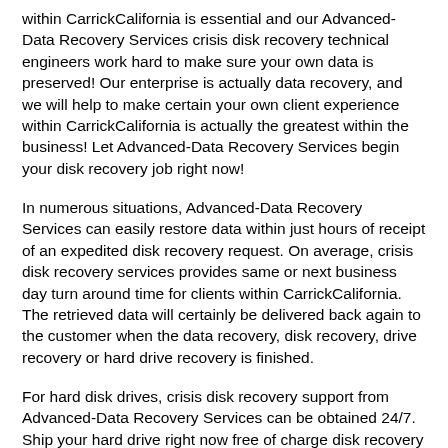within CarrickCalifornia is essential and our Advanced-Data Recovery Services crisis disk recovery technical engineers work hard to make sure your own data is preserved!  Our enterprise is actually data recovery, and we will help to make certain your own client experience within CarrickCalifornia is actually the greatest within the business!  Let Advanced-Data Recovery Services begin your disk recovery job right now!
In numerous situations, Advanced-Data Recovery Services can easily restore data within just hours of receipt of an expedited disk recovery request. On average, crisis disk recovery services provides same or next business day turn around time for clients within CarrickCalifornia. The retrieved data will certainly be delivered back again to the customer when the data recovery, disk recovery, drive recovery or hard drive recovery is finished.
For hard disk drives, crisis disk recovery support from Advanced-Data Recovery Services can be obtained 24/7. Ship your hard drive right now free of charge disk recovery assessment and our Advanced-Data Recovery Services